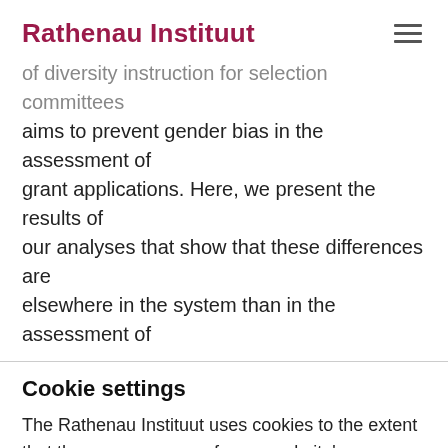Rathenau Instituut
of diversity instruction for selection committees aims to prevent gender bias in the assessment of grant applications. Here, we present the results of our analyses that show that these differences are elsewhere in the system than in the assessment of
Cookie settings
The Rathenau Instituut uses cookies to the extent that they are necessary for our website's functioning and to monitor its quality and effectiveness. In addition to these necessary cookies, we ask permission for the storage of social media cookies. These cookies are necessary to display content from external sources within our website. The preference for these cookies can be changed at any time via the cookie settings.